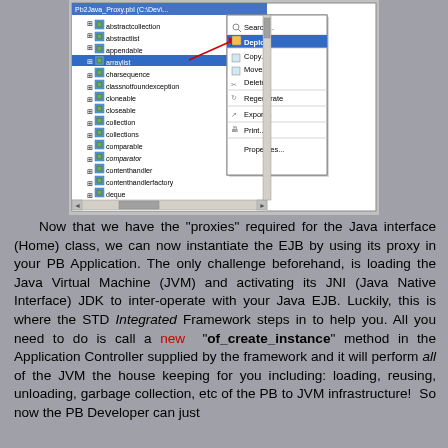[Figure (screenshot): IDE screenshot showing a tree panel with Java class names (abstractcollection, abstractlist, appendable, arraylist, charsequence, classnotfoundexception, cloneable, closeable, collection, collections, comparable, comparator, contenthandler, contenthandlerfactory, deque) and a context menu with options: Search..., Deploy (highlighted), Copy..., Move..., Delete, Regenerate, Export..., Print..., Properties...]
Now that we have the "proxies" required for the Java interface (Home) class, we can now instantiate the EJB by using its proxy in your PB Application. The only challenge beforehand, is loading the Java Virtual Machine (JVM) and activating its JNI (Java Native Interface) JDK to inter-operate with your Java EJB. Luckily, this is where the STD Integrated Framework steps in to help you. All you need to do is call a new "of_create_instance" method in the Application Controller supplied by the framework and it will perform all of the JVM the house keeping for you including: loading, reusing, unloading, garbage collection, etc of the PB to JVM infrastructure! So now the PB Developer can just